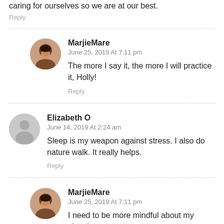caring for ourselves so we are at our best.
Reply
MarjieMare — June 25, 2019 At 7:11 pm — The more I say it, the more I will practice it, Holly!
Reply
Elizabeth O — June 14, 2019 At 2:24 am — Sleep is my weapon against stress. I also do nature walk. It really helps.
Reply
MarjieMare — June 25, 2019 At 7:11 pm — I need to be more mindful about my sleeping